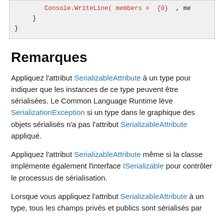[Figure (screenshot): Code block showing closing braces of a C# method with Console.WriteLine containing 'members = {0}' in red and a variable reference]
Remarques
Appliquez l'attribut SerializableAttribute à un type pour indiquer que les instances de ce type peuvent être sérialisées. Le Common Language Runtime lève SerializationException si un type dans le graphique des objets sérialisés n'a pas l'attribut SerializableAttribute appliqué.
Appliquez l'attribut SerializableAttribute même si la classe implémente également l'interface ISerializable pour contrôler le processus de sérialisation.
Lorsque vous appliquez l'attribut SerializableAttribute à un type, tous les champs privés et publics sont sérialisés par